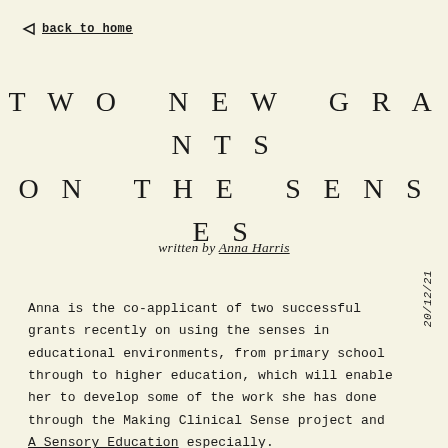back to home
TWO NEW GRANTS ON THE SENSES
written by Anna Harris
20/12/21
Anna is the co-applicant of two successful grants recently on using the senses in educational environments, from primary school through to higher education, which will enable her to develop some of the work she has done through the Making Clinical Sense project and A Sensory Education especially.